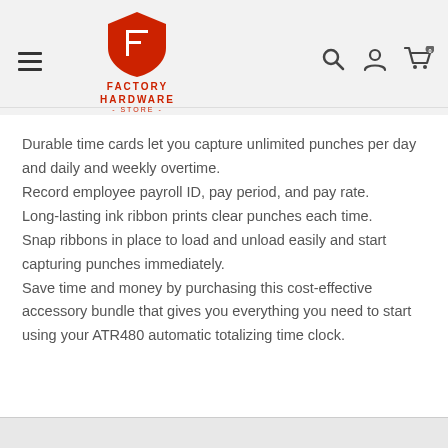[Figure (logo): Factory Hardware Store logo with red shield icon and red text reading FACTORY HARDWARE - STORE -]
Durable time cards let you capture unlimited punches per day and daily and weekly overtime.
Record employee payroll ID, pay period, and pay rate.
Long-lasting ink ribbon prints clear punches each time.
Snap ribbons in place to load and unload easily and start capturing punches immediately.
Save time and money by purchasing this cost-effective accessory bundle that gives you everything you need to start using your ATR480 automatic totalizing time clock.